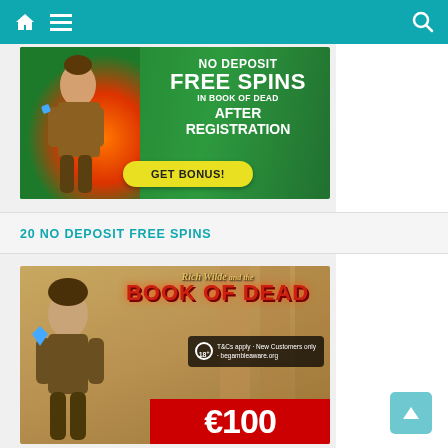Navigation bar with home icon, menu icon, and search icon
[Figure (illustration): Casino bonus advertisement banner: NO DEPOSIT FREE SPINS IN BOOK OF DEAD AFTER REGISTRATION with GET BONUS! button, green background with adventurer character]
20 NO DEPOSIT FREE SPINS
[Figure (illustration): Book of Dead casino game banner showing Rich Wilde and the Book of Dead logo, adventurer character, T&Cs apply - New Customers only - begambleaware.org, €100 bonus offer on red background]